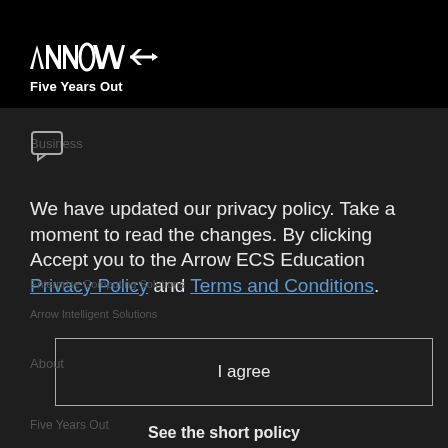[Figure (logo): Arrow Electronics logo with 'Five Years Out' tagline on black header bar]
Business
We have updated our privacy policy. Take a moment to read the changes. By clicking Accept you to the Arrow ECS Education Privacy Policy and Terms and Conditions.
Enterprise Computing Solutions
Arrow Intelligent Solutions
I agree
About
Five Years Out
See the short policy
Careers